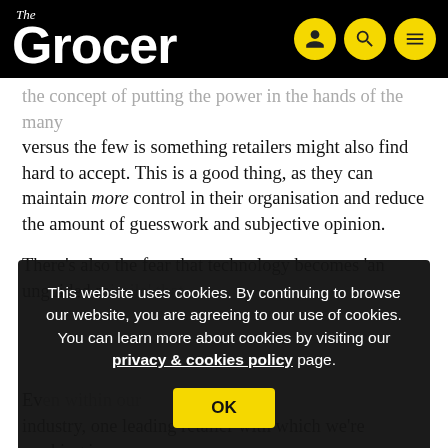The Grocer
the concept of putting the power in the hands of the many versus the few is something retailers might also find hard to accept. This is a good thing, as they can maintain more control in their organisation and reduce the amount of guesswork and subjective opinion.
There's also the fear that technology becomes 'an unguided missile' that...
This website uses cookies. By continuing to browse our website, you are agreeing to our use of cookies. You can learn more about cookies by visiting our privacy & cookies policy page.
Even within our industry, one leading retailer with which we're working is recovering millions of dollars in lost sales by using the